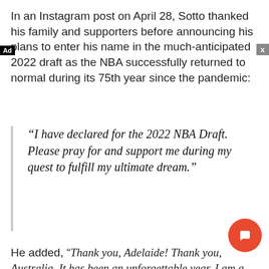In an Instagram post on April 28, Sotto thanked his family and supporters before announcing his plans to enter his name in the much-anticipated 2022 draft as the NBA successfully returned to normal during its 75th year since the pandemic:
“I have declared for the 2022 NBA Draft. Please pray for and support me during my quest to fulfill my ultimate dream.”
He added, “Thank you, Adelaide! Thank you, Australia. It has been an unforgettable year. I am a better man and a better professional player because you all took me under your wing and mentored me. I could not have got this point of my journey without the support of my coaches, trainers, sponsors, media, and army of